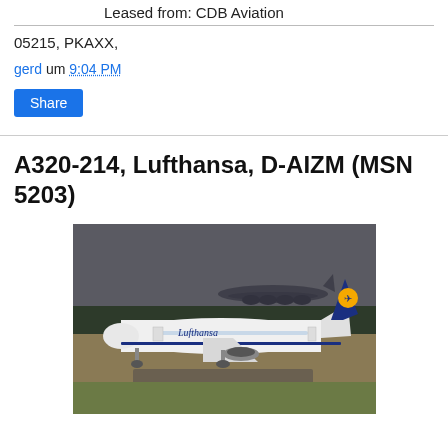Leased from: CDB Aviation
05215, PKAXX,
gerd um 9:04 PM
Share
A320-214, Lufthansa, D-AIZM (MSN 5203)
[Figure (photo): Lufthansa Airbus A320 aircraft on a runway taxiway with another large aircraft visible in the background. Overcast sky, grassy surroundings.]